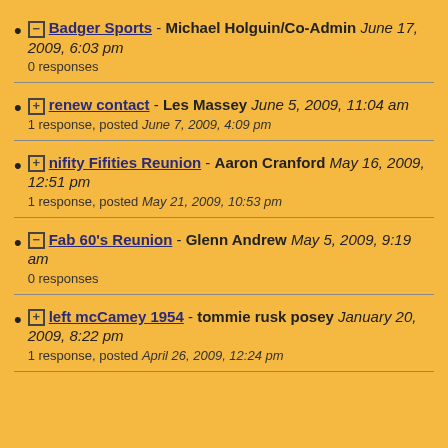⊟ Badger Sports - Michael Holguin/Co-Admin June 17, 2009, 6:03 pm
0 responses
⊞ renew contact - Les Massey June 5, 2009, 11:04 am
1 response, posted June 7, 2009, 4:09 pm
⊞ nifity Fifities Reunion - Aaron Cranford May 16, 2009, 12:51 pm
1 response, posted May 21, 2009, 10:53 pm
⊟ Fab 60's Reunion - Glenn Andrew May 5, 2009, 9:19 am
0 responses
⊞ left mcCamey 1954 - tommie rusk posey January 20, 2009, 8:22 pm
1 response, posted April 26, 2009, 12:24 pm